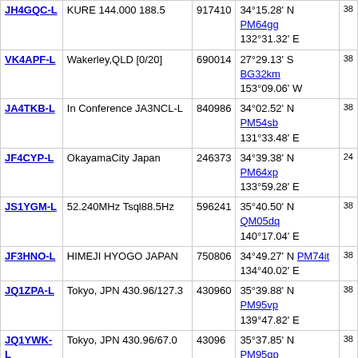| Callsign | Location | Node | Coordinates | Grid |
| --- | --- | --- | --- | --- |
| JH4GQC-L | KURE 144.000 188.5 | 917410 | 34°15.28' N 132°31.32' E | PM64gg |
| VK4APF-L | Wakerley,QLD [0/20] | 690014 | 27°29.13' S 153°09.06' W | BG32km |
| JA4TKB-L | In Conference JA3NCL-L | 840986 | 34°02.52' N 131°33.48' E | PM54sb |
| JF4CYP-L | OkayamaCity Japan | 246373 | 34°39.38' N 133°59.28' E | PM64xp |
| JS1YGM-L | 52.240MHz Tsql88.5Hz | 596241 | 35°40.50' N 140°17.04' E | QM05dq |
| JF3HNO-L | HIMEJI HYOGO JAPAN | 750806 | 34°49.27' N 134°40.02' E | PM74it |
| JQ1ZPA-L | Tokyo, JPN 430.96/127.3 | 430960 | 35°39.88' N 139°47.82' E | PM95vp |
| JQ1YWK-L | Tokyo, JPN 430.96/67.0 | 43096 | 35°37.85' N 139°21.48' E | PM95qp |
| JE4YKI-L | HiroshimaBay 430.86T100 | 522449 | 34°20.95' N 132°17.40' E | PM64di |
| JE4YKI-R | HiroshimaBay 439.30-RPT | 589308 | 34°22.32' N 132°16.62' E | PM64di |
About This Page
This page is intended to help RF users find EchoLink simplex or repeater link
The table above shows information collected during the past several minutes stations shown are those which have entered location information on the RF here.